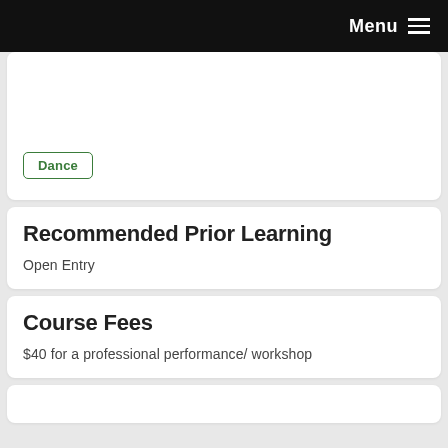Menu
Dance
Recommended Prior Learning
Open Entry
Course Fees
$40 for a professional performance/ workshop